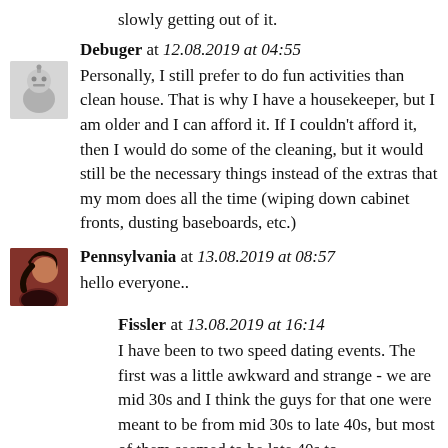slowly getting out of it.
Debuger at 12.08.2019 at 04:55
Personally, I still prefer to do fun activities than clean house. That is why I have a housekeeper, but I am older and I can afford it. If I couldn't afford it, then I would do some of the cleaning, but it would still be the necessary things instead of the extras that my mom does all the time (wiping down cabinet fronts, dusting baseboards, etc.)
Pennsylvania at 13.08.2019 at 08:57
hello everyone..
Fissler at 13.08.2019 at 16:14
I have been to two speed dating events. The first was a little awkward and strange - we are mid 30s and I think the guys for that one were meant to be from mid 30s to late 40s, but most of them seemed to be late 40s to